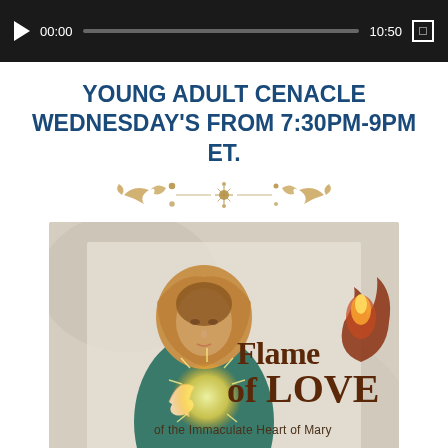[Figure (screenshot): Video player bar with play button, timestamp 00:00, progress bar, time 10:50, and fullscreen icon on dark background]
YOUNG ADULT CENACLE WEDNESDAY'S FROM 7:30PM-9PM ET.
[Figure (illustration): Ornamental divider with floral and leaf scroll design in gold/tan color]
[Figure (photo): Book cover image: 'Flame of Love of the Immaculate Heart of Mary' with illustration of Virgin Mary and sacred flame, text 'YOUNG ADULT' at bottom]